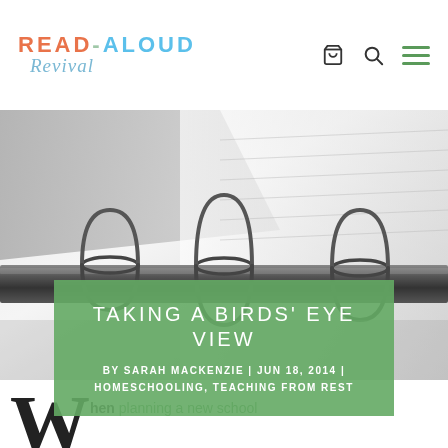READ-ALOUD Revival
[Figure (photo): Close-up photo of a three-ring binder with silver rings, pages visible, gray-toned, slightly blurred background]
TAKING A BIRDS' EYE VIEW
BY SARAH MACKENZIE | JUN 18, 2014 | HOMESCHOOLING, TEACHING FROM REST
When planning a new school